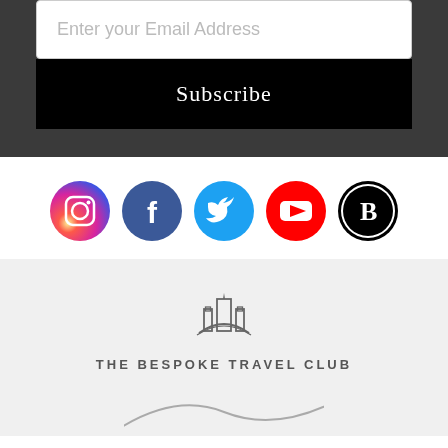Enter your Email Address
Subscribe
[Figure (infographic): Row of five social media icons: Instagram (gradient circle), Facebook (blue circle), Twitter (light blue circle), YouTube (red circle), and a 'B' logo (black circle with white B)]
[Figure (logo): The Bespoke Travel Club logo: architectural building icon with arched bridge above, text below reading THE BESPOKE TRAVEL CLUB]
[Figure (illustration): Partial decorative wave or swoosh at bottom of page]